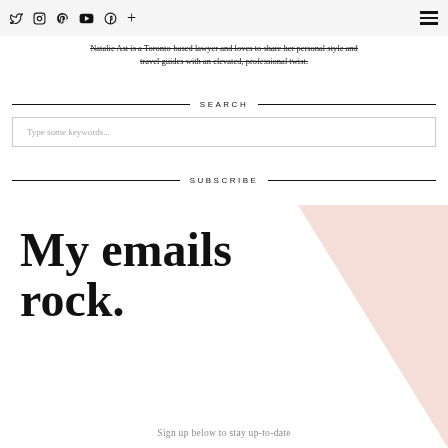social icons: Twitter, Instagram, Pinterest, YouTube, Facebook, Plus | hamburger menu
Natalie Ast is a Toronto-based lawyer and loves to share her personal style and travel guides with an elevated, professional twist.
SEARCH
Type some keywords...
SUBSCRIBE
My emails rock.
Sign up below to stay up-to-date